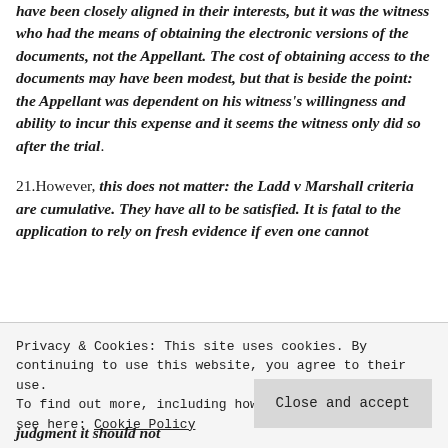have been closely aligned in their interests, but it was the witness who had the means of obtaining the electronic versions of the documents, not the Appellant. The cost of obtaining access to the documents may have been modest, but that is beside the point: the Appellant was dependent on his witness's willingness and ability to incur this expense and it seems the witness only did so after the trial.
21.However, this does not matter: the Ladd v Marshall criteria are cumulative. They have all to be satisfied. It is fatal to the application to rely on fresh evidence if even one cannot
judgment it should not
Privacy & Cookies: This site uses cookies. By continuing to use this website, you agree to their use.
To find out more, including how to control cookies, see here: Cookie Policy